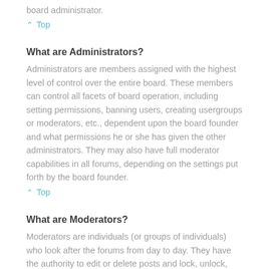board administrator.
^ Top
What are Administrators?
Administrators are members assigned with the highest level of control over the entire board. These members can control all facets of board operation, including setting permissions, banning users, creating usergroups or moderators, etc., dependent upon the board founder and what permissions he or she has given the other administrators. They may also have full moderator capabilities in all forums, depending on the settings put forth by the board founder.
^ Top
What are Moderators?
Moderators are individuals (or groups of individuals) who look after the forums from day to day. They have the authority to edit or delete posts and lock, unlock, move, delete and split topics in the forum